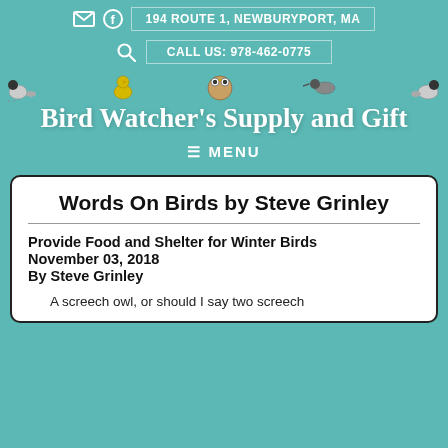194 ROUTE 1, NEWBURYPORT, MA
CALL US: 978-462-0775
Bird Watcher's Supply and Gift
MENU
Words On Birds by Steve Grinley
Provide Food and Shelter for Winter Birds
November 03, 2018
By Steve Grinley
A screech owl, or should I say two screech